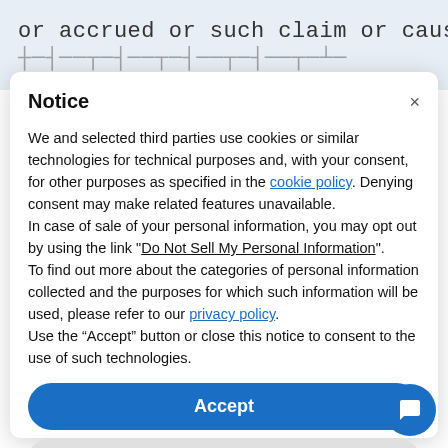or accrued or such claim or cause of action will
Notice
We and selected third parties use cookies or similar technologies for technical purposes and, with your consent, for other purposes as specified in the cookie policy. Denying consent may make related features unavailable.
In case of sale of your personal information, you may opt out by using the link "Do Not Sell My Personal Information".
To find out more about the categories of personal information collected and the purposes for which such information will be used, please refer to our privacy policy.
Use the “Accept” button or close this notice to consent to the use of such technologies.
Accept
Learn more and customize